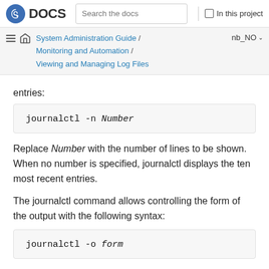DOCS | Search the docs | In this project
System Administration Guide / Monitoring and Automation / Viewing and Managing Log Files | nb_NO
entries:
journalctl -n Number
Replace Number with the number of lines to be shown. When no number is specified, journalctl displays the ten most recent entries.
The journalctl command allows controlling the form of the output with the following syntax:
journalctl -o form